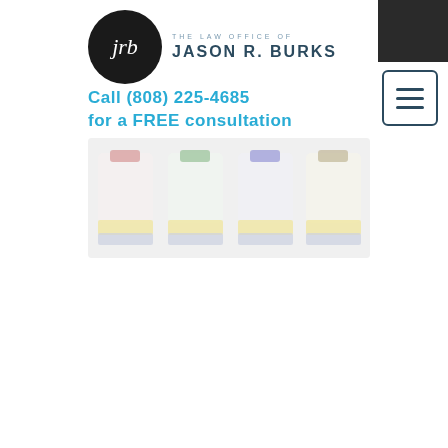[Figure (logo): The Law Office of Jason R. Burks logo — black circle with white 'jrb' monogram and law office name text to the right]
Call (808) 225-4685
for a FREE consultation
[Figure (photo): Blurred image showing four medication/pharmaceutical vials in a row with colored caps]